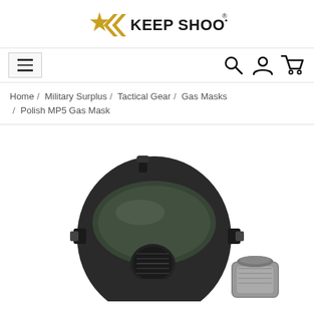[Figure (logo): Keep Shooting logo with gold star and double chevron arrows, bold black text reading KEEP SHOOTING with registered trademark symbol]
[Figure (other): Navigation bar with hamburger menu icon on left, search icon, user account icon, and shopping cart icon on right]
Home / Military Surplus / Tactical Gear / Gas Masks / Polish MP5 Gas Mask
[Figure (photo): Polish MP5 Gas Mask product photo showing a black full-face gas mask with panoramic visor, straps, filter canister, and speaking diaphragm on white background]